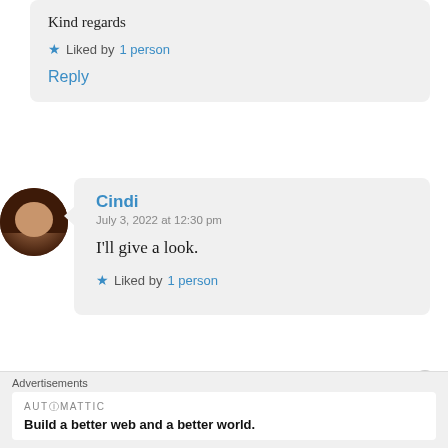Kind regards
Liked by 1 person
Reply
Cindi
July 3, 2022 at 12:30 pm
I'll give a look.
Liked by 1 person
Advertisements
AUTOMATTIC
Build a better web and a better world.